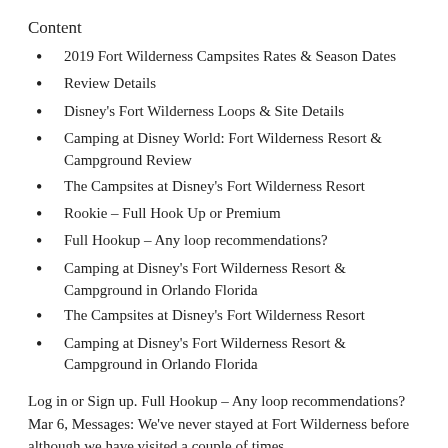Content
2019 Fort Wilderness Campsites Rates & Season Dates
Review Details
Disney's Fort Wilderness Loops & Site Details
Camping at Disney World: Fort Wilderness Resort & Campground Review
The Campsites at Disney's Fort Wilderness Resort
Rookie – Full Hook Up or Premium
Full Hookup – Any loop recommendations?
Camping at Disney's Fort Wilderness Resort & Campground in Orlando Florida
The Campsites at Disney's Fort Wilderness Resort
Camping at Disney's Fort Wilderness Resort & Campground in Orlando Florida
Log in or Sign up. Full Hookup – Any loop recommendations? Mar 6, Messages: We've never stayed at Fort Wilderness before although we have visited a couple of times.